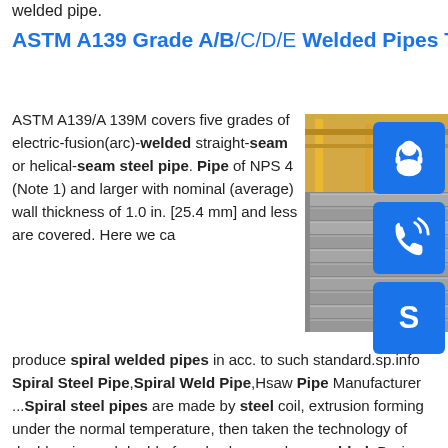welded pipe.
ASTM A139 Grade A/B/C/D/E Welded Pipes Tubes| ASTM …
ASTM A139/A 139M covers five grades of electric-fusion(arc)-welded straight-seam or helical-seam steel pipe. Pipe of NPS 4 (Note 1) and larger with nominal (average) wall thickness of 1.0 in. [25.4 mm] and less are covered. Here we can produce spiral welded pipes in acc. to such standard.sp.info Spiral Steel Pipe,Spiral Weld Pipe,Hsaw Pipe Manufacturer ...Spiral steel pipes are made by steel coil, extrusion forming under the normal temperature, then taken the technology of double wire and double-faced submerged-arc welded. During molding process of spiral welded steel pipe, steel plate has uniform deformation
[Figure (photo): Stacked steel plates/sheets in an industrial warehouse or factory setting, with yellow crane/machinery visible in the background.]
[Figure (infographic): Three blue square icons: a headset/support icon, a phone/call icon, and a Skype icon arranged vertically on the right side.]